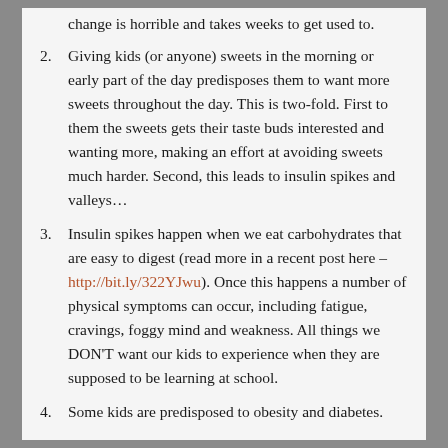change is horrible and takes weeks to get used to.
2. Giving kids (or anyone) sweets in the morning or early part of the day predisposes them to want more sweets throughout the day. This is two-fold. First to them the sweets gets their taste buds interested and wanting more, making an effort at avoiding sweets much harder. Second, this leads to insulin spikes and valleys...
3. Insulin spikes happen when we eat carbohydrates that are easy to digest (read more in a recent post here – http://bit.ly/322YJwu). Once this happens a number of physical symptoms can occur, including fatigue, cravings, foggy mind and weakness. All things we DON'T want our kids to experience when they are supposed to be learning at school.
4. Some kids are predisposed to obesity and diabetes.